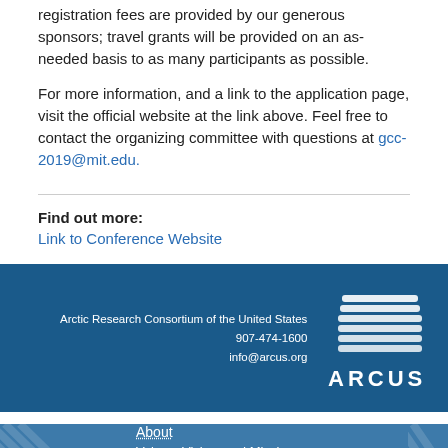registration fees are provided by our generous sponsors; travel grants will be provided on an as-needed basis to as many participants as possible.
For more information, and a link to the application page, visit the official website at the link above. Feel free to contact the organizing committee with questions at gcc-2019@mit.edu.
Find out more:
Link to Conference Website
Arctic Research Consortium of the United States
907-474-1600
info@arcus.org
[Figure (logo): ARCUS logo with white dome/arch icon and ARCUS text in white]
About
Values, Vision, and Mission